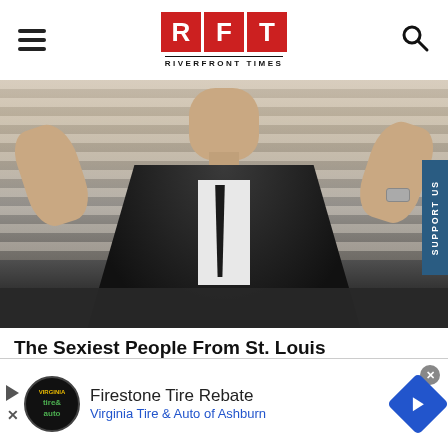RFT RIVERFRONT TIMES
[Figure (photo): A man in a dark suit with his hands raised, shown from chest up, against a window with blinds background. Support Us tab on right side.]
The Sexiest People From St. Louis [PHOTOS]
[Figure (infographic): Advertisement banner for Firestone Tire Rebate - Virginia Tire & Auto of Ashburn, with tire & auto logo, play button, and blue arrow navigation icon.]